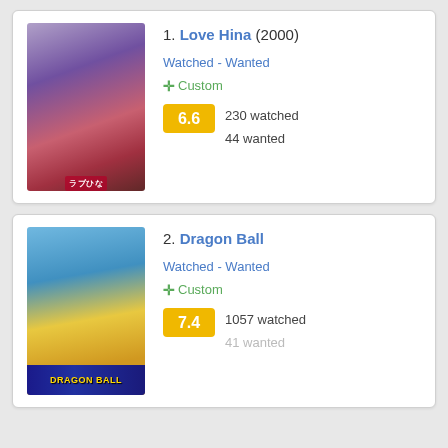1. Love Hina (2000)
Watched - Wanted
+ Custom
6.6  230 watched  44 wanted
2. Dragon Ball
Watched - Wanted
+ Custom
7.4  1057 watched  41 wanted